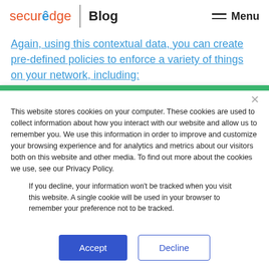securedge Blog Menu
Again, using this contextual data, you can create pre-defined policies to enforce a variety of things on your network, including:
Who can a...
This website stores cookies on your computer. These cookies are used to collect information about how you interact with our website and allow us to remember you. We use this information in order to improve and customize your browsing experience and for analytics and metrics about our visitors both on this website and other media. To find out more about the cookies we use, see our Privacy Policy.
If you decline, your information won't be tracked when you visit this website. A single cookie will be used in your browser to remember your preference not to be tracked.